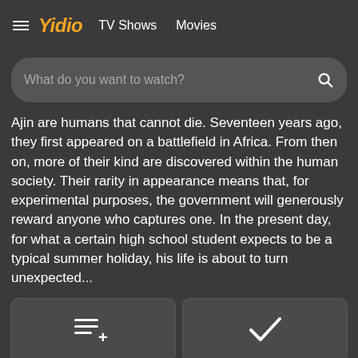≡ Yidio  TV Shows  Movies
What do you want to watch?
Ajin are humans that cannot die. Seventeen years ago, they first appeared on a battlefield in Africa. From then on, more of their kind are discovered within the human society. Their rarity in appearance means that, for experimental purposes, the government will generously reward anyone who captures one. In the present day, for what a certain high school student expects to be a typical summer holiday, his life is about to turn unexpected...
Add to Watchlist
Mark All Watched
Channel
Tokyo Broadcasting System
Rating